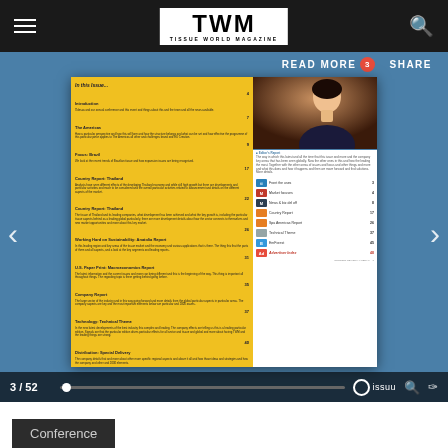TWM - TISSUE WORLD MAGAZINE
READ MORE  3  SHARE
[Figure (screenshot): Tissue World Magazine issue viewer showing a table of contents page with yellow left panel and photo of a person on the right, displayed as page 3 of 52 in an Issuu reader]
3 / 52
Conference